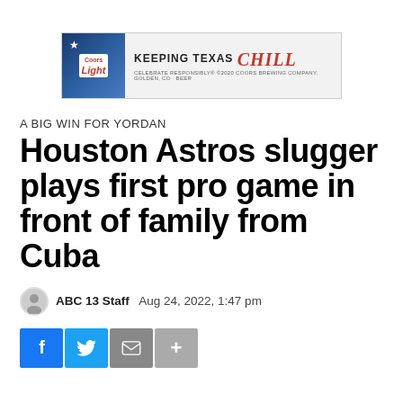[Figure (photo): Coors Light advertisement banner: 'KEEPING TEXAS Chill — CELEBRATE RESPONSIBLY']
A BIG WIN FOR YORDAN
Houston Astros slugger plays first pro game in front of family from Cuba
ABC 13 Staff   Aug 24, 2022, 1:47 pm
[Figure (other): Social sharing buttons: Facebook, Twitter, Email, Plus]